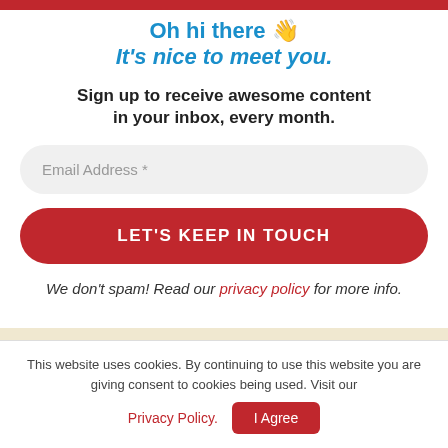Oh hi there 👋
It's nice to meet you.
Sign up to receive awesome content in your inbox, every month.
Email Address *
LET'S KEEP IN TOUCH
We don't spam! Read our privacy policy for more info.
This website uses cookies. By continuing to use this website you are giving consent to cookies being used. Visit our Privacy Policy.
I Agree